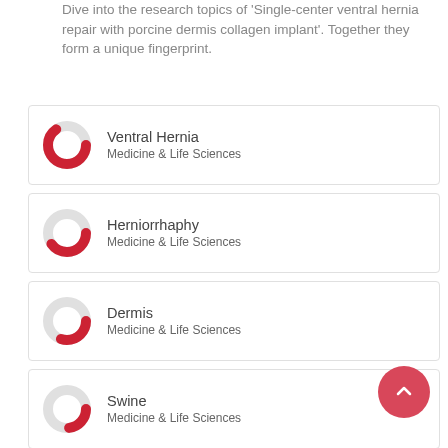Dive into the research topics of 'Single-center ventral hernia repair with porcine dermis collagen implant'. Together they form a unique fingerprint.
Ventral Hernia — Medicine & Life Sciences
Herniorrhaphy — Medicine & Life Sciences
Dermis — Medicine & Life Sciences
Swine — Medicine & Life Sciences
Collagen — Medicine & Life Sciences
Hernia — Medicine & Life Sciences